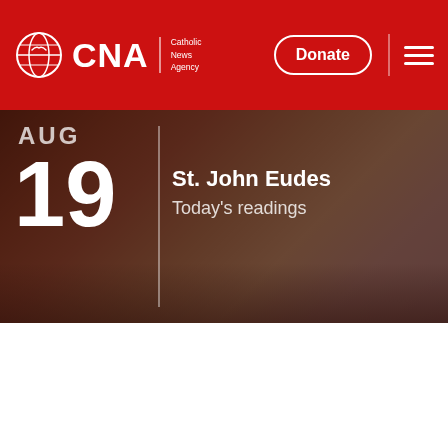CNA Catholic News Agency — Donate — Menu
[Figure (screenshot): Hero image of St. Peter's Square in Vatican City with a dark red/brown tonal overlay. Left side shows the date: AUG 19. Right side shows saint name and link: St. John Eudes / Today's readings.]
St. John Eudes
Today's readings